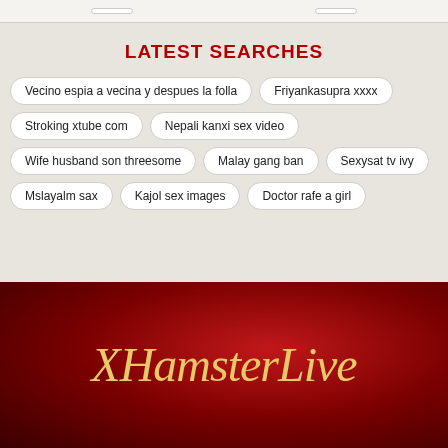LATEST SEARCHES
Vecino espia a vecina y despues la folla
Friyankasupra xxxx
Stroking xtube com
Nepali kanxi sex video
Wife husband son threesome
Malay gang ban
Sexysat tv ivy
Mslayalm sax
Kajol sex images
Doctor rafe a girl
[Figure (logo): XHamsterLive logo in gold italic serif text on dark red gradient background]